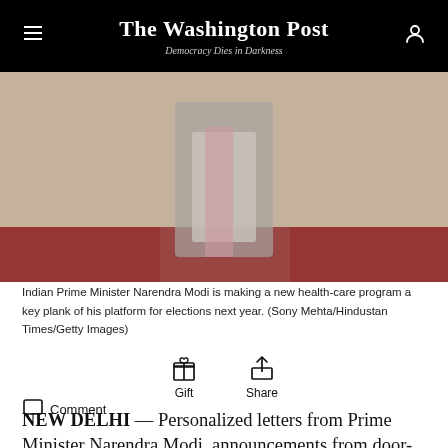The Washington Post — Democracy Dies in Darkness
[Figure (photo): Blurred photo of Indian Prime Minister Narendra Modi standing on a red carpet, lower body visible]
Indian Prime Minister Narendra Modi is making a new health-care program a key plank of his platform for elections next year. (Sony Mehta/Hindustan Times/Getty Images)
Gift  Share  Comment
NEW DELHI — Personalized letters from Prime Minister Narendra Modi, announcements from door-knocking health-care workers and lists pinned up at